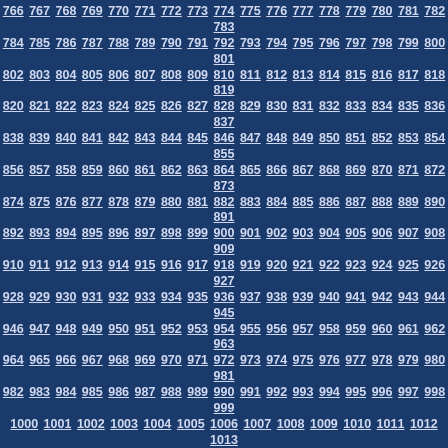766 767 768 769 770 771 772 773 774 775 776 777 778 779 780 781 782 783 784 785 786 787 788 789 790 791 792 793 794 795 796 797 798 799 800 801 802 803 804 805 806 807 808 809 810 811 812 813 814 815 816 817 818 819 820 821 822 823 824 825 826 827 828 829 830 831 832 833 834 835 836 837 838 839 840 841 842 843 844 845 846 847 848 849 850 851 852 853 854 855 856 857 858 859 860 861 862 863 864 865 866 867 868 869 870 871 872 873 874 875 876 877 878 879 880 881 882 883 884 885 886 887 888 889 890 891 892 893 894 895 896 897 898 899 900 901 902 903 904 905 906 907 908 909 910 911 912 913 914 915 916 917 918 919 920 921 922 923 924 925 926 927 928 929 930 931 932 933 934 935 936 937 938 939 940 941 942 943 944 945 946 947 948 949 950 951 952 953 954 955 956 957 958 959 960 961 962 963 964 965 966 967 968 969 970 971 972 973 974 975 976 977 978 979 980 981 982 983 984 985 986 987 988 989 990 991 992 993 994 995 996 997 998 999 1000 1001 1002 1003 1004 1005 1006 1007 1008 1009 1010 1011 1012 1013 1014 1015 1016 1017 1018 1019 1020 1021 1022 1023 1024 1025 1026 1027 1028 1029 1030 1031 1032 1033 1034 1035 1036 1037 1038 1039 1040 1041 1042 1043 1044 1045 1046 1047 1048 1049 1050 1051 1052 1053 1054 1055 1056 1057 1058 1059 1060 1061 1062 1063 1064 1065 1066 1067 1068 1069 1070 1071 1072 1073 1074 1075 1076 1077 1078 1079 1080 1081 1082 1083 1084 1085 1086 1087 1088 1089 1090 1091 1092 1093 1094 1095 1096 1097 1098 1099 1100 1101 1102 1103 1104 1105 1106 1107 1108 1109 1110 1111 1112 1113 1114 1115 1116 1117 1118 1119 1120 1121 1122 1123 1124 1125 1126 1127 1128 1129 1130 1131 1132 1133 1134 1135 1136 1137 1138 1139 1140 1141 1142 1143 1144 1145 1146 1147 1148 1149 1150 1151 1152 1153 1154 1155 1156 1157 1158 1159 1160 1161 1162 1163 1164 1165 1166 1167 1168 1169 1170 1171 1172 1173 1174 1175 1176 1177 1178 1179 1180 1181 1182 1183 1184 1185 1186 1187 1188 1189 1190 1191 1192 1193 1194 1195 1196 1197 1198 1199 1200 1201 1202 1203 1204 1205 1206 1207 1208 1209 1210